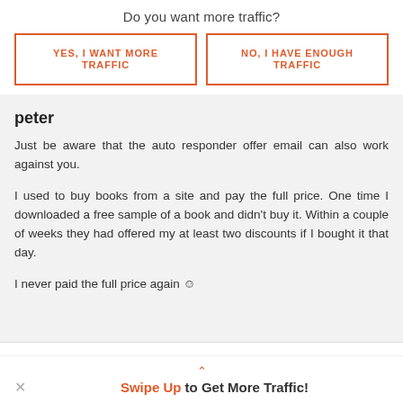Do you want more traffic?
YES, I WANT MORE TRAFFIC
NO, I HAVE ENOUGH TRAFFIC
peter
Just be aware that the auto responder offer email can also work against you.
I used to buy books from a site and pay the full price. One time I downloaded a free sample of a book and didn't buy it. Within a couple of weeks they had offered my at least two discounts if I bought it that day.
I never paid the full price again ☺
Swipe Up to Get More Traffic!